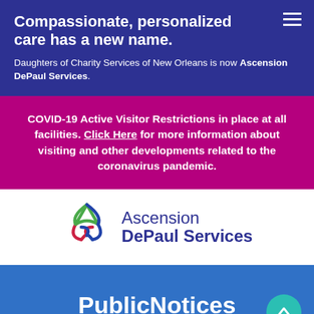Compassionate, personalized care has a new name.
Daughters of Charity Services of New Orleans is now Ascension DePaul Services.
COVID-19 Active Visitor Restrictions in place at all facilities. Click Here for more information about visiting and other developments related to the coronavirus pandemic.
[Figure (logo): Ascension DePaul Services logo with triquetra/trinity knot symbol in green, red, and blue, and text 'Ascension DePaul Services' in dark navy blue]
PublicNotices